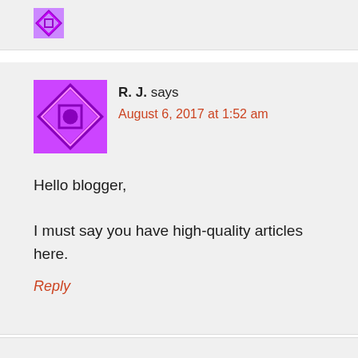[Figure (illustration): Top partial comment card with avatar partially visible at top]
R. J. says
August 6, 2017 at 1:52 am
Hello blogger,

I must say you have high-quality articles here.
Reply
[Figure (illustration): Bottom partial comment card with avatar partially visible at bottom]